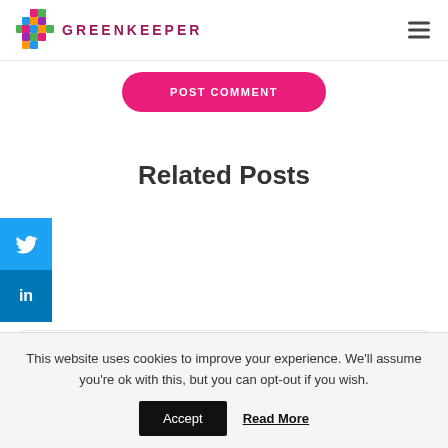GREENKEEPER
POST COMMENT
Related Posts
Delivering a green recovery for
This website uses cookies to improve your experience. We'll assume you're ok with this, but you can opt-out if you wish.
Accept  Read More